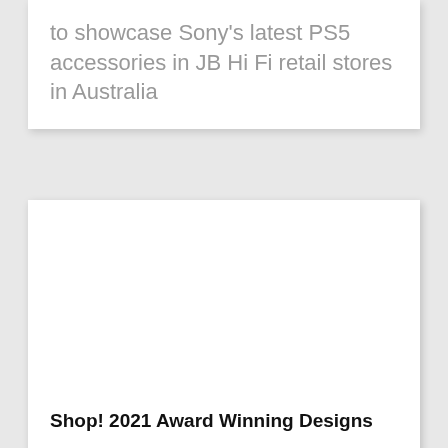to showcase Sony's latest PS5 accessories in JB Hi Fi retail stores in Australia
[Figure (photo): White blank image placeholder area within a card]
Shop! 2021 Award Winning Designs
Genesis Retail Displays won two awards at the 2021 Shop! ANZ Retail Marketing Awards